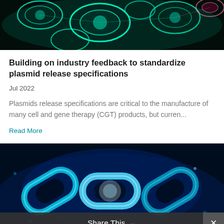[Figure (photo): Microscopic teal/green glowing biological cells or bacteria on dark background]
Building on industry feedback to standardize plasmid release specifications
Jul 2022
Plasmids release specifications are critical to the manufacture of many cell and gene therapy (CGT) products, but curren...
Read More
[Figure (photo): Glowing blue digital chain links on dark blue background]
Share This ∨